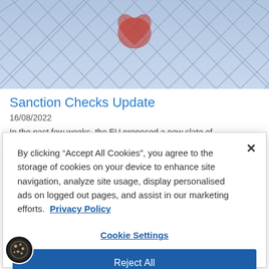[Figure (photo): Hero image showing a chain-link fence with a blurred red heart shape visible through it, blue-toned background]
Sanction Checks Update
16/08/2022
In the past few weeks, the EU proposed a new slate of
By clicking “Accept All Cookies”, you agree to the storage of cookies on your device to enhance site navigation, analyze site usage, display personalised ads on logged out pages, and assist in our marketing efforts.  Privacy Policy
Cookie Settings
Reject All
Accept All Cookies